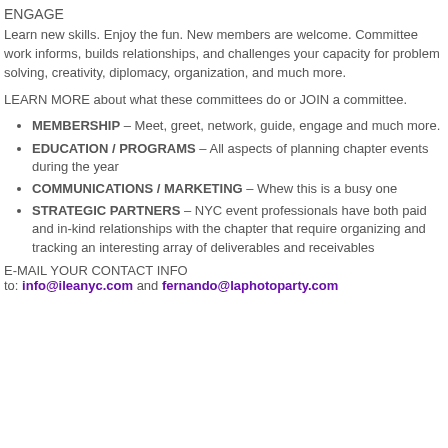ENGAGE
Learn new skills. Enjoy the fun. New members are welcome. Committee work informs, builds relationships, and challenges your capacity for problem solving, creativity, diplomacy, organization, and much more.
LEARN MORE about what these committees do or JOIN a committee.
MEMBERSHIP – Meet, greet, network, guide, engage and much more.
EDUCATION / PROGRAMS – All aspects of planning chapter events during the year
COMMUNICATIONS / MARKETING – Whew this is a busy one
STRATEGIC PARTNERS – NYC event professionals have both paid and in-kind relationships with the chapter that require organizing and tracking an interesting array of deliverables and receivables
E-MAIL YOUR CONTACT INFO
to: info@ileanyc.com and fernando@laphotoparty.com